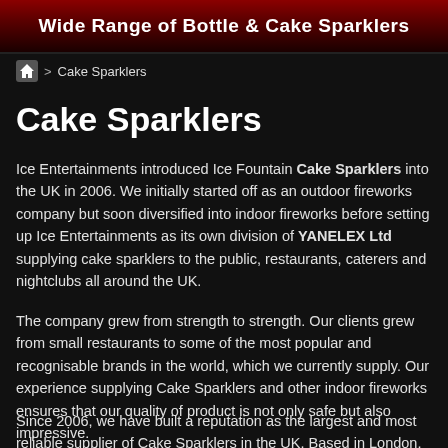Wide Range of Bottle & Cake Sparklers
> Cake Sparklers
Cake Sparklers
Ice Entertainments introduced Ice Fountain Cake Sparklers into the UK in 2006. We initially started off as an outdoor fireworks company but soon diversified into indoor fireworks before setting up Ice Entertainments as its own division of YANELEX Ltd supplying cake sparklers to the public, restaurants, caterers and nightclubs all around the UK.
The company grew from strength to strength. Our clients grew from small restaurants to some of the most popular and recognisable brands in the world, which we currently supply. Our experience supplying Cake Sparklers and other indoor fireworks ensures that our quality of product is not only safe but also impressive.
Since 2006, we have built a reputation as the largest and most reliable supplier of Cake Sparklers in the UK. Based in London, we are able to supply our clients at very short notice allowing us to be London’s first and ‘number one’ choice of